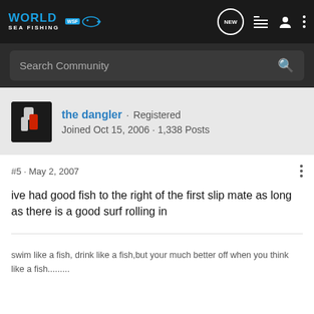World Sea Fishing - WSF
Search Community
the dangler · Registered
Joined Oct 15, 2006 · 1,338 Posts
#5 · May 2, 2007
ive had good fish to the right of the first slip mate as long as there is a good surf rolling in
swim like a fish, drink like a fish,but your much better off when you think like a fish.........